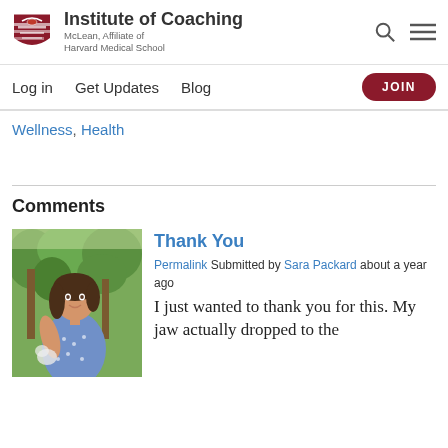[Figure (logo): Institute of Coaching logo with shield icon, text 'Institute of Coaching', subtitle 'McLean, Affiliate of Harvard Medical School']
Log in   Get Updates   Blog   JOIN
Wellness, Health
Comments
[Figure (photo): Photo of a young woman with dark hair in a blue dress, standing outdoors among trees]
Thank You
Permalink Submitted by Sara Packard about a year ago
I just wanted to thank you for this.  My jaw actually dropped to the